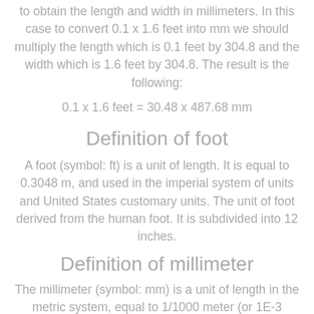to obtain the length and width in millimeters. In this case to convert 0.1 x 1.6 feet into mm we should multiply the length which is 0.1 feet by 304.8 and the width which is 1.6 feet by 304.8. The result is the following:
Definition of foot
A foot (symbol: ft) is a unit of length. It is equal to 0.3048 m, and used in the imperial system of units and United States customary units. The unit of foot derived from the human foot. It is subdivided into 12 inches.
Definition of millimeter
The millimeter (symbol: mm) is a unit of length in the metric system, equal to 1/1000 meter (or 1E-3 meter), which is also an engineering standard unit.